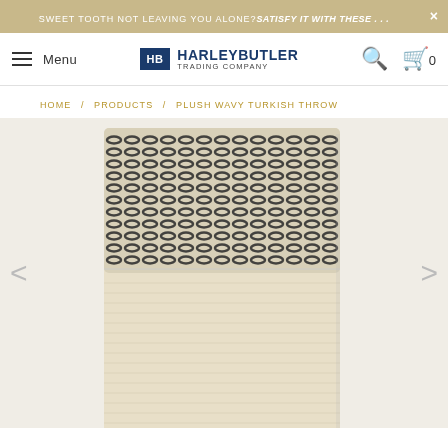SWEET TOOTH NOT LEAVING YOU ALONE? SATISFY IT WITH THESE . . .
[Figure (logo): HarleyButler Trading Company logo with blue HB box and brand name text]
HOME / PRODUCTS / PLUSH WAVY TURKISH THROW
[Figure (photo): Plush wavy Turkish throw blanket showing top portion with dark wavy textured stripe pattern and cream/off-white woven lower section]